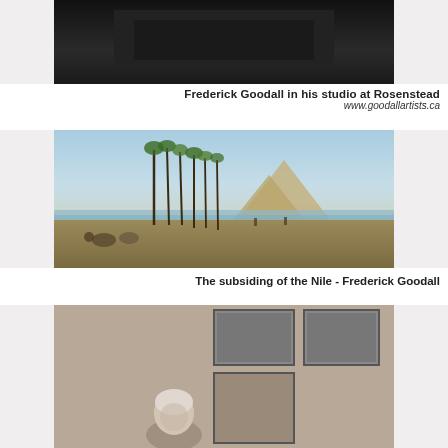[Figure (photo): Black and white photograph of Frederick Goodall in his studio at Rosenstead, partially cropped at top]
Frederick Goodall in his studio at Rosenstead
www.goodallartists.ca
[Figure (photo): Painting titled 'The subsiding of the Nile' by Frederick Goodall, showing Egyptian landscape with pyramids, palm trees, and figures with animals along the Nile]
The subsiding of the Nile - Frederick Goodall
[Figure (photo): Black and white photograph, partially cropped, showing an elderly person with paintings in background]